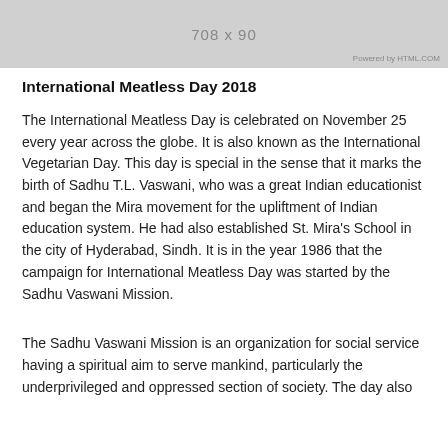[Figure (other): Advertisement banner placeholder showing '708 x 90' with 'Powered by HTML.COM' text]
International Meatless Day 2018
The International Meatless Day is celebrated on November 25 every year across the globe. It is also known as the International Vegetarian Day. This day is special in the sense that it marks the birth of Sadhu T.L. Vaswani, who was a great Indian educationist and began the Mira movement for the upliftment of Indian education system. He had also established St. Mira's School in the city of Hyderabad, Sindh. It is in the year 1986 that the campaign for International Meatless Day was started by the Sadhu Vaswani Mission.
The Sadhu Vaswani Mission is an organization for social service having a spiritual aim to serve mankind, particularly the underprivileged and oppressed section of society. The day also